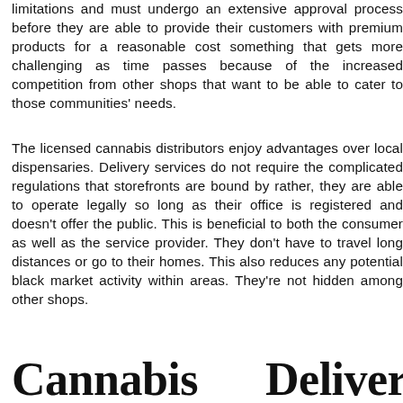limitations and must undergo an extensive approval process before they are able to provide their customers with premium products for a reasonable cost something that gets more challenging as time passes because of the increased competition from other shops that want to be able to cater to those communities' needs.
The licensed cannabis distributors enjoy advantages over local dispensaries. Delivery services do not require the complicated regulations that storefronts are bound by rather, they are able to operate legally so long as their office is registered and doesn't offer the public. This is beneficial to both the consumer as well as the service provider. They don't have to travel long distances or go to their homes. This also reduces any potential black market activity within areas. They're not hidden among other shops.
Cannabis    Delivery